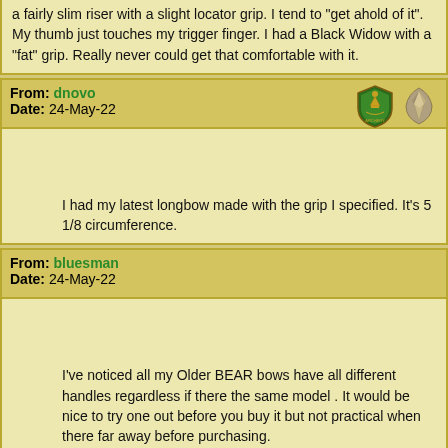a fairly slim riser with a slight locator grip. I tend to "get ahold of it". My thumb just touches my trigger finger. I had a Black Widow with a "fat" grip. Really never could get that comfortable with it.
From: dnovo
Date: 24-May-22
I had my latest longbow made with the grip I specified. It’s 5 1/8 circumference.
From: bluesman
Date: 24-May-22
I’ve noticed all my Older BEAR bows have all different handles regardless if there the same model . It would be nice to try one out before you buy it but not practical when there far away before purchasing.